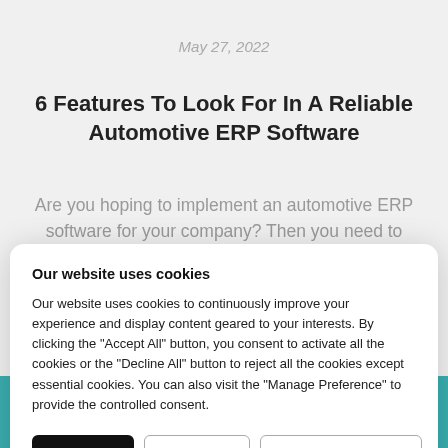May 27, 2022
6 Features To Look For In A Reliable Automotive ERP Software
Are you hoping to implement an automotive ERP software for your company? Then you need to ensure
Our website uses cookies
Our website uses cookies to continuously improve your experience and display content geared to your interests. By clicking the "Accept All" button, you consent to activate all the cookies or the "Decline All" button to reject all the cookies except essential cookies. You can also visit the "Manage Preference" to provide the controlled consent.
Our Case Study